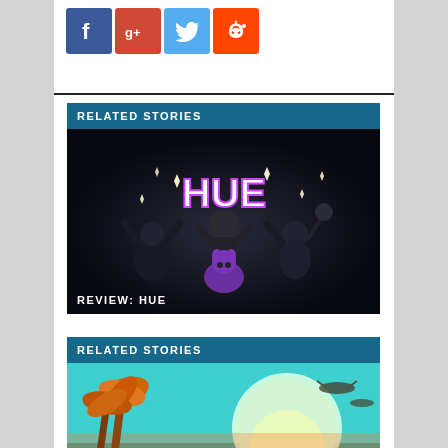[Figure (infographic): Social sharing icons: Facebook (blue), Google+ (red), Twitter (light blue), Reddit (orange)]
RELATED STORIES
[Figure (illustration): Dark game artwork for HUE showing cartoon characters with the word HUE in large white letters]
REVIEW: HUE
RELATED STORIES
[Figure (illustration): Colorful tropical scene with palm trees and planet/moon, teal sky with alien aircraft]